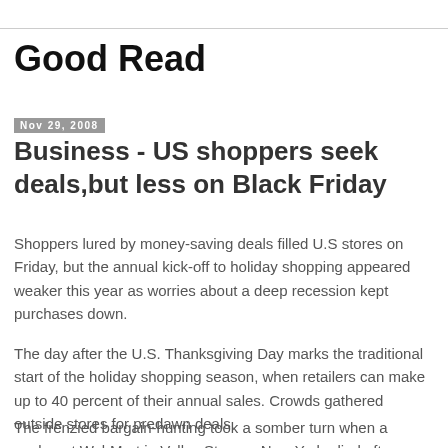Good Read
Nov 29, 2008
Business - US shoppers seek deals,but less on Black Friday
Shoppers lured by money-saving deals filled U.S stores on Friday, but the annual kick-off to holiday shopping appeared weaker this year as worries about a deep recession kept purchases down.
The day after the U.S. Thanksgiving Day marks the traditional start of the holiday shopping season, when retailers can make up to 40 percent of their annual sales. Crowds gathered outside stores for predawn deals.
The frenzied bargain-hunting took a somber turn when a worker at Wal-Mart in Valley Stream, New York, died after